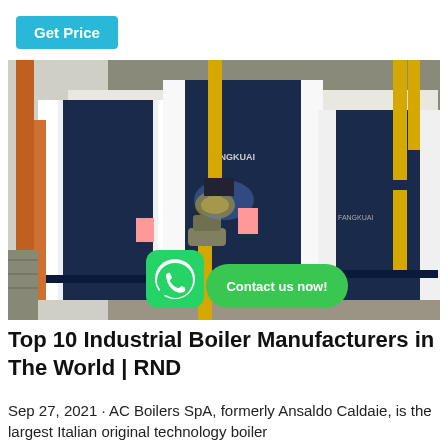[Figure (other): Get Price button — cyan/teal rounded rectangle button with white text]
[Figure (photo): Industrial boilers in a facility — large white and dark blue boiler units with yellow and orange pipes, WhatsApp icon and 'Contact us now!' green button overlay]
Top 10 Industrial Boiler Manufacturers in The World | RND
Sep 27, 2021 · AC Boilers SpA, formerly Ansaldo Caldaie, is the largest Italian original technology boiler